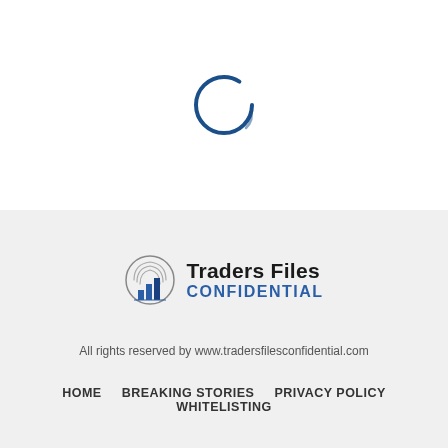[Figure (other): Loading spinner: a circular ring shape in dark blue, partially open at one end, indicating a loading state]
[Figure (logo): Traders Files Confidential logo: circular fingerprint/bar chart icon in blue and grey on the left, with 'Traders Files' in bold black and 'CONFIDENTIAL' in bold blue text on the right]
All rights reserved by www.tradersfilesconfidential.com
HOME   BREAKING STORIES   PRIVACY POLICY   WHITELISTING